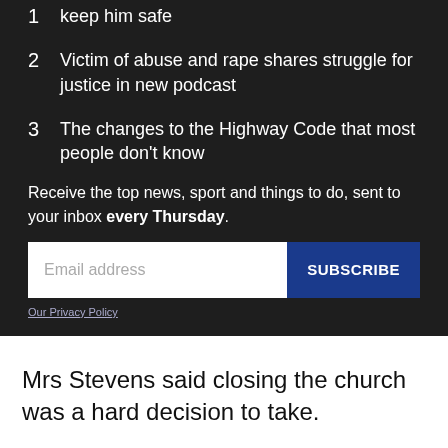1 keep him safe
2 Victim of abuse and rape shares struggle for justice in new podcast
3 The changes to the Highway Code that most people don't know
Receive the top news, sport and things to do, sent to your inbox every Thursday.
Email address
SUBSCRIBE
Our Privacy Policy
Mrs Stevens said closing the church was a hard decision to take.